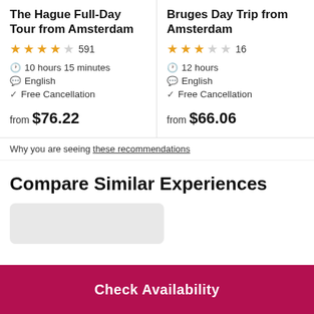The Hague Full-Day Tour from Amsterdam
★★★★☆ 591
10 hours 15 minutes
English
Free Cancellation
from $76.22
Bruges Day Trip from Amsterdam
★★★☆☆ 16
12 hours
English
Free Cancellation
from $66.06
Why you are seeing these recommendations
Compare Similar Experiences
Check Availability